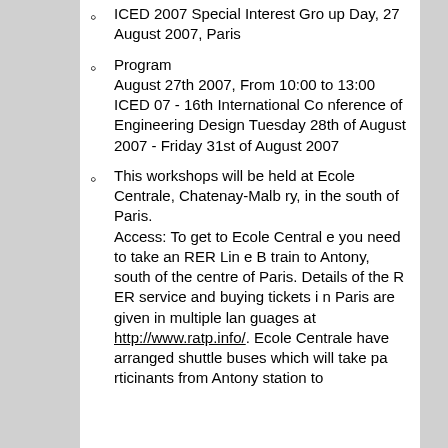ICED 2007 Special Interest Group Day, 27 August 2007, Paris
Program
August 27th 2007, From 10:00 to 13:00
ICED 07 - 16th International Conference of Engineering Design
Tuesday 28th of August 2007 - Friday 31st of August 2007
This workshops will be held at Ecole Centrale, Chatenay-Malbry, in the south of Paris.
Access: To get to Ecole Centrale you need to take an RER Line B train to Antony, south of the centre of Paris. Details of the RER service and buying tickets in Paris are given in multiple languages at http://www.ratp.info/.
Ecole Centrale have arranged shuttle buses which will take participants from Antony station to